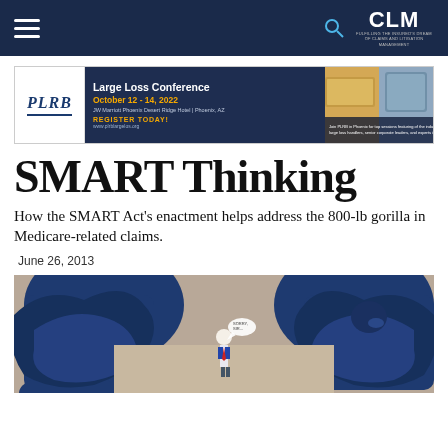CLM - Claims and Litigation Management Alliance
[Figure (illustration): PLRB Large Loss Conference advertisement banner. October 12-14, 2022 at JW Marriott Phoenix Desert Ridge Hotel, Phoenix, AZ. Register Today! www.plrblargelos.org. Photo of hotel/resort on right side.]
SMART Thinking
How the SMART Act's enactment helps address the 800-lb gorilla in Medicare-related claims.
June 26, 2013
[Figure (illustration): Illustration of a small businessman standing between two large blue gorillas facing each other, with a speech bubble. The scene depicts the concept of an 800-lb gorilla metaphor in claims management.]